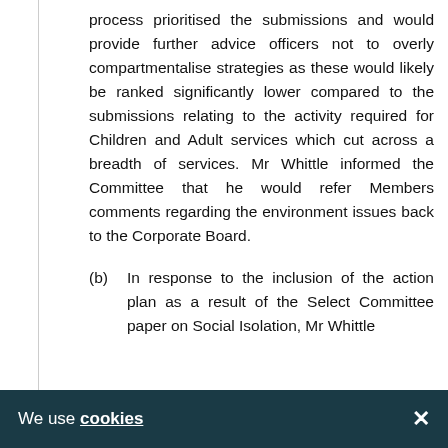process prioritised the submissions and would provide further advice officers not to overly compartmentalise strategies as these would likely be ranked significantly lower compared to the submissions relating to the activity required for Children and Adult services which cut across a breadth of services. Mr Whittle informed the Committee that he would refer Members comments regarding the environment issues back to the Corporate Board.
(b) In response to the inclusion of the action plan as a result of the Select Committee paper on Social Isolation, Mr Whittle
We use cookies